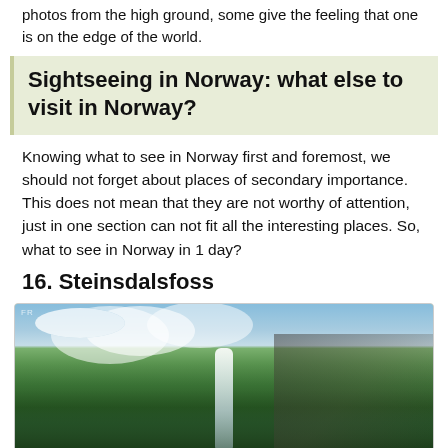photos from the high ground, some give the feeling that one is on the edge of the world.
Sightseeing in Norway: what else to visit in Norway?
Knowing what to see in Norway first and foremost, we should not forget about places of secondary importance. This does not mean that they are not worthy of attention, just in one section can not fit all the interesting places. So, what to see in Norway in 1 day?
16. Steinsdalsfoss
[Figure (photo): Landscape photo of Steinsdalsfoss waterfall in Norway, showing a white waterfall cascading between dense green conifer forests and rocky cliffs, with blue sky and white clouds above.]